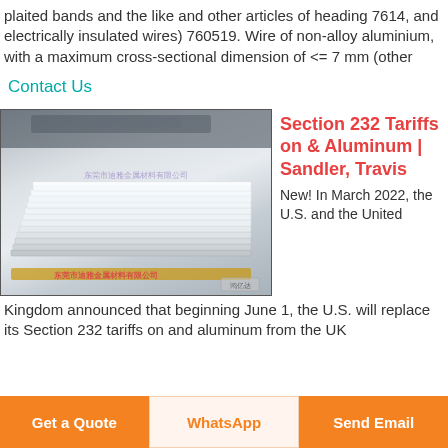plaited bands and the like and other articles of heading 7614, and electrically insulated wires) 760519. Wire of non-alloy aluminium, with a maximum cross-sectional dimension of <= 7 mm (other
Contact Us
[Figure (photo): Stack of aluminum sheets/plates stored in a warehouse or storage area, with Chinese text watermarks on the image from a metal materials company.]
Section 232 Tariffs on & Aluminum | Sandler, Travis
New! In March 2022, the U.S. and the United Kingdom announced that beginning June 1, the U.S. will replace its Section 232 tariffs on and aluminum from the UK
Get a Quote
WhatsApp
Send Email